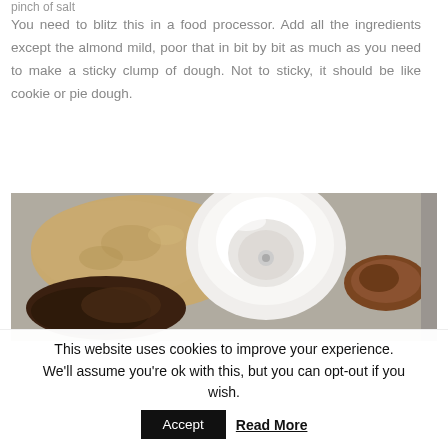pinch of salt
You need to blitz this in a food processor. Add all the ingredients except the almond mild, poor that in bit by bit as much as you need to make a sticky clump of dough. Not to sticky, it should be like cookie or pie dough.
[Figure (photo): Food processor bowl containing dough ingredients — golden/tan colored dough, dark chocolate mixture, a white food processor blade/bowl attachment, and what appears to be a date or nut on the right side.]
This website uses cookies to improve your experience. We'll assume you're ok with this, but you can opt-out if you wish. Accept Read More